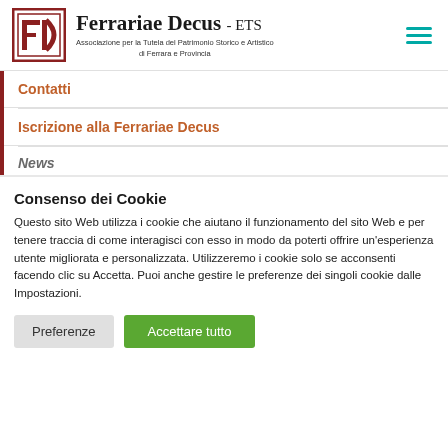Ferrariae Decus - ETS
Associazione per la Tutela del Patrimonio Storico e Artistico di Ferrara e Provincia
Contatti
Iscrizione alla Ferrariae Decus
News
Consenso dei Cookie
Questo sito Web utilizza i cookie che aiutano il funzionamento del sito Web e per tenere traccia di come interagisci con esso in modo da poterti offrire un'esperienza utente migliorata e personalizzata. Utilizzeremo i cookie solo se acconsenti facendo clic su Accetta. Puoi anche gestire le preferenze dei singoli cookie dalle Impostazioni.
Preferenze | Accettare tutto